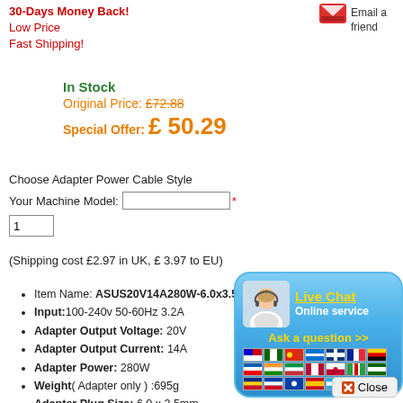30-Days Money Back!
Low Price
Fast Shipping!
[Figure (illustration): Email envelope icon with 'Email a friend' text]
In Stock
Original Price: £72.88
Special Offer: £ 50.29
Choose Adapter Power Cable Style
Your Machine Model: [input field] *
[quantity: 1]
(Shipping cost £2.97 in UK, £ 3.97 to EU)
Item Name: ASUS20V14A280W-6.0x3.5m
Input:100-240v 50-60Hz 3.2A
Adapter Output Voltage: 20V
Adapter Output Current: 14A
Adapter Power: 280W
Weight( Adapter only ) :695g
Adapter Plug Size: 6.0 x 3.5mm
Adapter tip note: 1 pin in the tip center
Total Sale: 170 Sold
Original / Genuine : Yes
Package Include:
[Figure (screenshot): Live Chat popup with agent photo, 'Live Chat' title, 'Online service' text, 'Ask a question >>' button, and multiple country flag icons, plus a Close button]